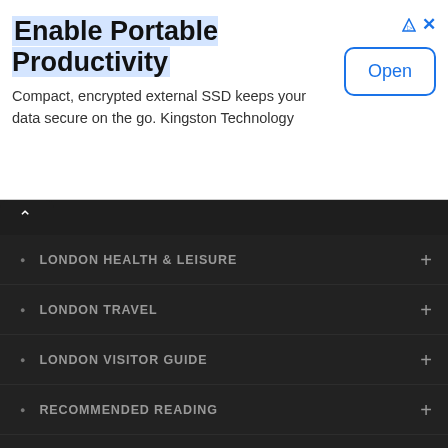[Figure (screenshot): Advertisement banner: 'Enable Portable Productivity' with Open button, triangle and X icons. Blue triangle and X in top right, ad title with blue highlight. Text: 'Compact, encrypted external SSD keeps your data secure on the go. Kingston Technology']
LONDON HEALTH & LEISURE
LONDON TRAVEL
LONDON VISITOR GUIDE
RECOMMENDED READING
ROOMCARD
Roomcard.com London's Most Popular Hotels
Give the gift of a lifetime, give Roomcard™